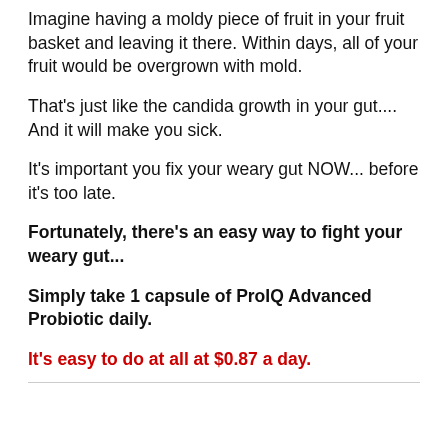Imagine having a moldy piece of fruit in your fruit basket and leaving it there. Within days, all of your fruit would be overgrown with mold.
That's just like the candida growth in your gut.... And it will make you sick.
It's important you fix your weary gut NOW... before it's too late.
Fortunately, there's an easy way to fight your weary gut...
Simply take 1 capsule of ProIQ Advanced Probiotic daily.
It's easy to do at all at $0.87 a day.